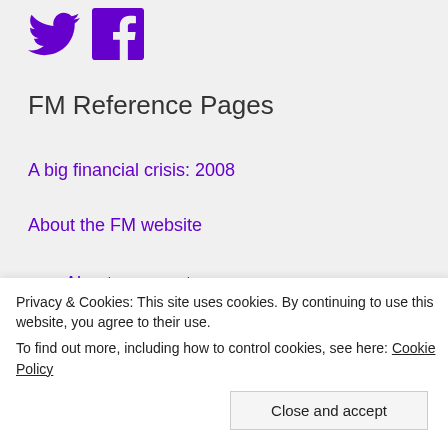[Figure (logo): Twitter and Facebook social media icons in purple]
FM Reference Pages
A big financial crisis: 2008
About the FM website
About comments
About the authors
Chet Richards
Don Vandergriff
G. I. Wilson
H. Thomas Hayden
Privacy & Cookies: This site uses cookies. By continuing to use this website, you agree to their use.
To find out more, including how to control cookies, see here: Cookie Policy
America's Empire